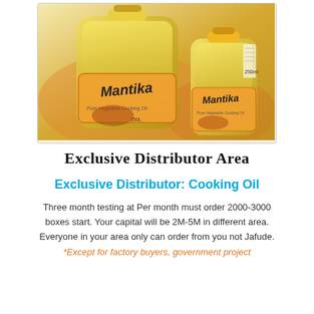[Figure (photo): Two bottles of Mantika Pure Vegetable Cooking Oil — one large and one small (250ml), both with yellow caps and colorful labels showing fried food]
Exclusive Distributor Area
Exclusive Distributor: Cooking Oil
Three month testing at Per month must order 2000-3000 boxes start. Your capital will be 2M-5M in different area. Everyone in your area only can order from you not Jafude.
*Except for factory buyers, government project